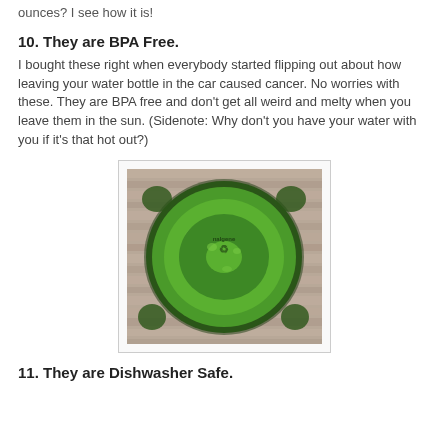ounces? I see how it is!
10. They are BPA Free.
I bought these right when everybody started flipping out about how leaving your water bottle in the car caused cancer. No worries with these. They are BPA free and don't get all weird and melty when you leave them in the sun. (Sidenote: Why don't you have your water with you if it's that hot out?)
[Figure (photo): Bottom of a green Nalgene water bottle viewed from underneath, showing the green translucent plastic base with recycling symbols and brand text, resting on a wooden surface.]
11. They are Dishwasher Safe.